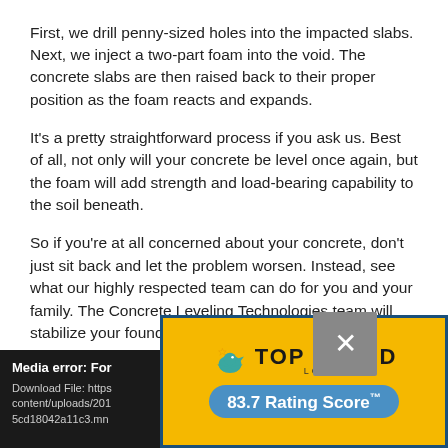First, we drill penny-sized holes into the impacted slabs. Next, we inject a two-part foam into the void. The concrete slabs are then raised back to their proper position as the foam reacts and expands.
It's a pretty straightforward process if you ask us. Best of all, not only will your concrete be level once again, but the foam will add strength and load-bearing capability to the soil beneath.
So if you're at all concerned about your concrete, don't just sit back and let the problem worsen. Instead, see what our highly respected team can do for you and your family. The Concrete Leveling Technologies team will stabilize your foundation in no time.
Contact us today to get started.
Media error: Format not supported
Download File: https://...content/uploads/201...5cd18042a11c3.mp...
[Figure (infographic): Top Rated Local badge - yellow background with teal bird icon, 'TOP RATED' text in bold black, 'LOCAL' subtitle, and '83.7 Rating Score TM' in a blue pill shape]